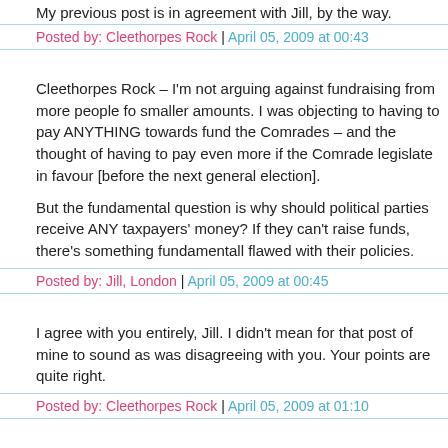My previous post is in agreement with Jill, by the way.
Posted by: Cleethorpes Rock | April 05, 2009 at 00:43
Cleethorpes Rock – I’m not arguing against fundraising from more people for smaller amounts. I was objecting to having to pay ANYTHING towards fund the Comrades – and the thought of having to pay even more if the Comrade legislate in favour [before the next general election].
But the fundamental question is why should political parties receive ANY taxpayers’ money? If they can’t raise funds, there’s something fundamentally flawed with their policies.
Posted by: Jill, London | April 05, 2009 at 00:45
I agree with you entirely, Jill. I didn’t mean for that post of mine to sound as was disagreeing with you. Your points are quite right.
Posted by: Cleethorpes Rock | April 05, 2009 at 01:10
Sorry, Cleethorpes Rock, your second posting hadn’t appeared when I posted response.